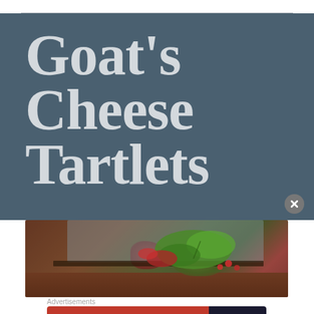Goat’s Cheese Tartlets
[Figure (photo): Partial view of a dish with greens and red leaves on a wooden board, likely goat's cheese tartlets]
Advertisements
[Figure (screenshot): DuckDuckGo advertisement banner: 'Search, browse, and email with more privacy. All in One Free App' with DuckDuckGo logo on dark background]